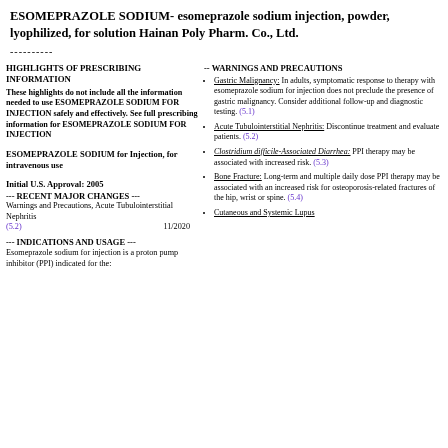ESOMEPRAZOLE SODIUM- esomeprazole sodium injection, powder, lyophilized, for solution Hainan Poly Pharm. Co., Ltd.
----------
HIGHLIGHTS OF PRESCRIBING INFORMATION
These highlights do not include all the information needed to use ESOMEPRAZOLE SODIUM FOR INJECTION safely and effectively. See full prescribing information for ESOMEPRAZOLE SODIUM FOR INJECTION
ESOMEPRAZOLE SODIUM for Injection, for intravenous use
Initial U.S. Approval: 2005
--- RECENT MAJOR CHANGES ---
Warnings and Precautions, Acute Tubulointerstitial Nephritis (5.2)   11/2020
--- INDICATIONS AND USAGE ---
Esomeprazole sodium for injection is a proton pump inhibitor (PPI) indicated for the:
-- WARNINGS AND PRECAUTIONS
Gastric Malignancy: In adults, symptomatic response to therapy with esomeprazole sodium for injection does not preclude the presence of gastric malignancy. Consider additional follow-up and diagnostic testing. (5.1)
Acute Tubulointerstitial Nephritis: Discontinue treatment and evaluate patients. (5.2)
Clostridium difficile-Associated Diarrhea: PPI therapy may be associated with increased risk. (5.3)
Bone Fracture: Long-term and multiple daily dose PPI therapy may be associated with an increased risk for osteoporosis-related fractures of the hip, wrist or spine. (5.4)
Cutaneous and Systemic Lupus